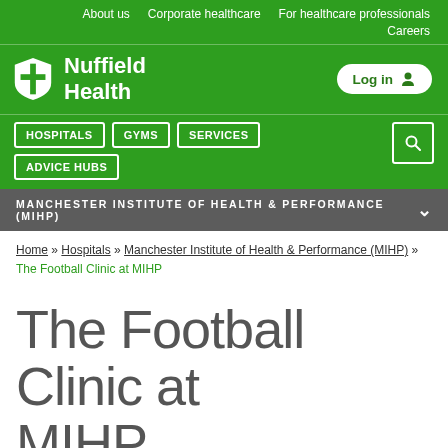About us   Corporate healthcare   For healthcare professionals   Careers
[Figure (logo): Nuffield Health logo with shield icon and white text on green background, with Log in button]
HOSPITALS   GYMS   SERVICES   ADVICE HUBS   [search]
MANCHESTER INSTITUTE OF HEALTH & PERFORMANCE (MIHP)
Home » Hospitals » Manchester Institute of Health & Performance (MIHP) » The Football Clinic at MIHP
The Football Clinic at MIHP